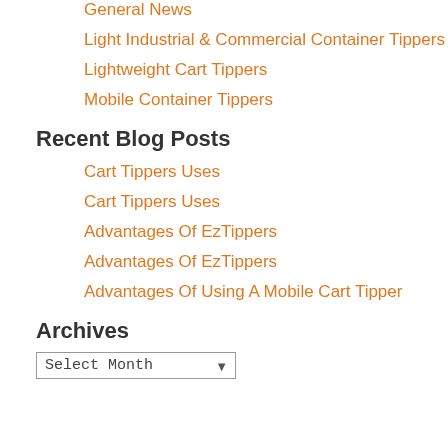General News
Light Industrial & Commercial Container Tippers
Lightweight Cart Tippers
Mobile Container Tippers
Recent Blog Posts
Cart Tippers Uses
Cart Tippers Uses
Advantages Of EzTippers
Advantages Of EzTippers
Advantages Of Using A Mobile Cart Tipper
Archives